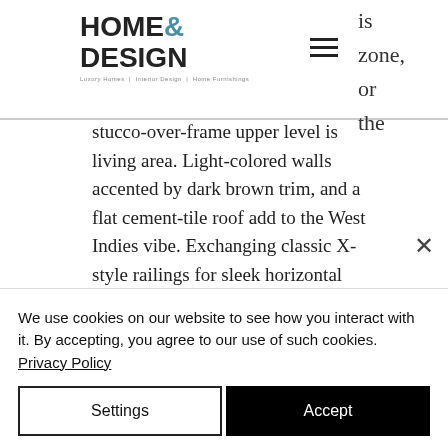HOME& DESIGN — Luxury Homes | Interior Design | Home Furnishings
is zone, or the stucco-over-frame upper level is living area. Light-colored walls accented by dark brown trim, and a flat cement-tile roof add to the West Indies vibe. Exchanging classic X-style railings for sleek horizontal metal modernizes the look.
There is little about this
We use cookies on our website to see how you interact with it. By accepting, you agree to our use of such cookies. Privacy Policy